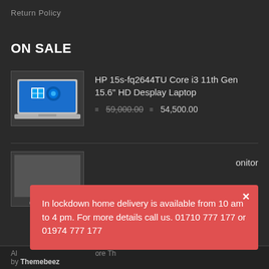Return Policy
ON SALE
HP 15s-fq2644TU Core i3 11th Gen 15.6" HD Desplay Laptop
59,000.00  54,500.00
[Figure (photo): HP laptop product image showing Windows 11 screen]
[Figure (photo): Partial product image, likely a monitor]
onitor
In lockdown home delivery is available from 10 am to 4 pm. For more details call us. 01710 777 177 or 01974 777 177
Al ... ore Th by Themebeez